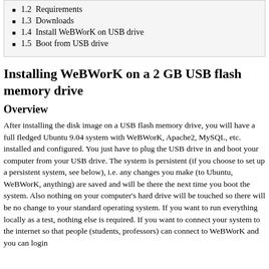1.2  Requirements
1.3  Downloads
1.4  Install WeBWorK on USB drive
1.5  Boot from USB drive
Installing WeBWorK on a 2 GB USB flash memory drive
Overview
After installing the disk image on a USB flash memory drive, you will have a full fledged Ubuntu 9.04 system with WeBWorK, Apache2, MySQL, etc. installed and configured. You just have to plug the USB drive in and boot your computer from your USB drive. The system is persistent (if you choose to set up a persistent system, see below), i.e. any changes you make (to Ubuntu, WeBWorK, anything) are saved and will be there the next time you boot the system. Also nothing on your computer's hard drive will be touched so there will be no change to your standard operating system. If you want to run everything locally as a test, nothing else is required. If you want to connect your system to the internet so that people (students, professors) can connect to WeBWorK and you can login